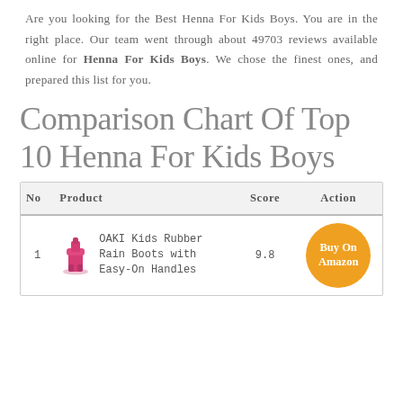Are you looking for the Best Henna For Kids Boys. You are in the right place. Our team went through about 49703 reviews available online for Henna For Kids Boys. We chose the finest ones, and prepared this list for you.
Comparison Chart Of Top 10 Henna For Kids Boys
| No | Product | Score | Action |
| --- | --- | --- | --- |
| 1 | OAKI Kids Rubber Rain Boots with Easy-On Handles | 9.8 | Buy On Amazon |